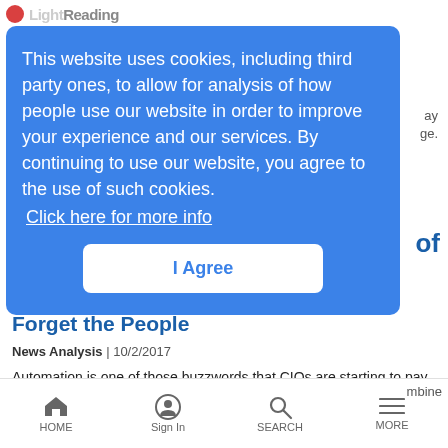Light Reading
This website uses cookies, including third party ones, to allow for analysis of how people use our website in order to improve your experience and our services. By continuing to use our website, you agree to the use of such cookies. Click here for more info
I Agree
Automation in the Enterprise: Don't Forget the People
News Analysis | 10/2/2017
Automation is one of those buzzwords that CIOs are starting to pay attention to. However, before you automate all your IT processes, think about the people first.
HOME  Sign In  SEARCH  MORE